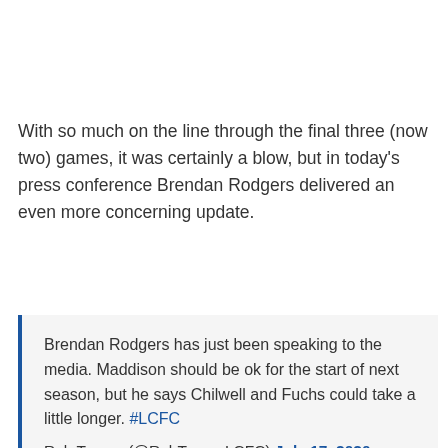With so much on the line through the final three (now two) games, it was certainly a blow, but in today’s press conference Brendan Rodgers delivered an even more concerning update.
Brendan Rodgers has just been speaking to the media. Maddison should be ok for the start of next season, but he says Chilwell and Fuchs could take a little longer. #LCFC
Rob Tanner (@RobTannerLCFC) July 17, 2020